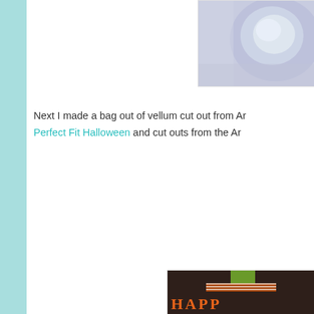[Figure (photo): Close-up photo of a sparkly/glittery round object, partially cropped at top right of page]
Next I made a bag out of vellum cut out from Ar... Perfect Fit Halloween and cut outs from the Ar...
[Figure (photo): Photo of Halloween craft bag with 'Trick or Treat' and 'Sweet Treats' circular stamped tags on dark brown patterned background with green ribbon bow and 'HAPPY' tag at bottom]